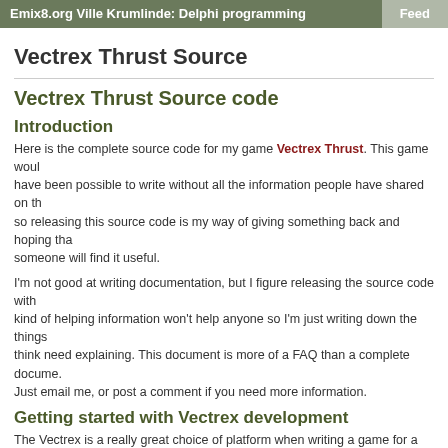Emix8.org Ville Krumlinde: Delphi programming   Feed
Vectrex Thrust Source
Vectrex Thrust Source code
Introduction
Here is the complete source code for my game Vectrex Thrust. This game would not have been possible to write without all the information people have shared on the net, so releasing this source code is my way of giving something back and hoping that someone will find it useful.
I'm not good at writing documentation, but I figure releasing the source code with some kind of helping information won't help anyone so I'm just writing down the things I think need explaining. This document is more of a FAQ than a complete document. Just email me, or post a comment if you need more information.
Getting started with Vectrex development
The Vectrex is a really great choice of platform when writing a game for a retro computer. It is easy to get started, and the hardware is not complicated compared to other consoles and computers from the early eighties. The Vector graphics gives the game an unique look which does not feel as dated as a low-res bitmapped display (although speaking of what is 'dated' is probably besides the point when discussing retrogaming).
A good set of links and documentation is at www.vectrex.nl. The AS09 assembler by Frank A. Vorstenbosch. The 6809-port of the GCC compiler.